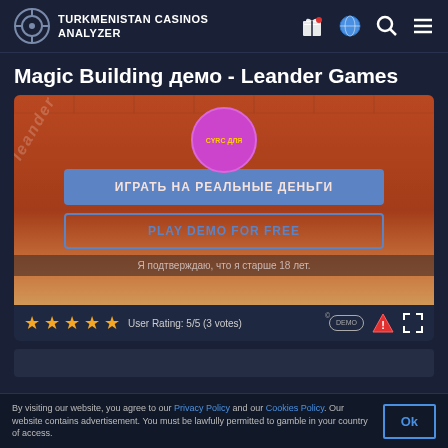TURKMENISTAN CASINOS ANALYZER
Magic Building демо - Leander Games
[Figure (screenshot): Game screenshot overlay with pink circle labelled 'Cyrc Для', blue 'ИГРАТЬ НА РЕАЛЬНЫЕ ДЕНЬГИ' button, and 'PLAY DEMO FOR FREE' outline button, with age confirmation text 'Я подтверждаю, что я старше 18 лет.']
User Rating: 5/5 (3 votes)
By visiting our website, you agree to our Privacy Policy and our Cookies Policy. Our website contains advertisement. You must be lawfully permitted to gamble in your country of access.